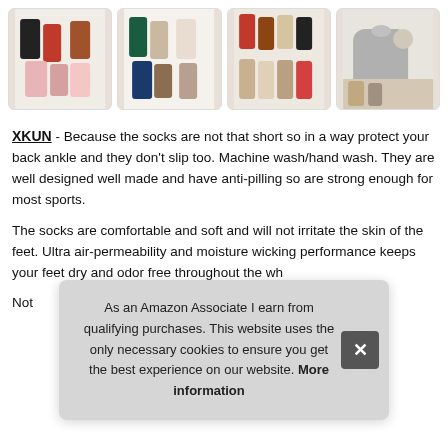[Figure (photo): Four thumbnail images of colorful children's socks arranged in a horizontal row]
XKUN - Because the socks are not that short so in a way protect your back ankle and they don't slip too. Machine wash/hand wash. They are well designed well made and have anti-pilling so are strong enough for most sports.
The socks are comfortable and soft and will not irritate the skin of the feet. Ultra air-permeability and moisture wicking performance keeps your feet dry and odor free throughout the who
Not
As an Amazon Associate I earn from qualifying purchases. This website uses the only necessary cookies to ensure you get the best experience on our website. More information